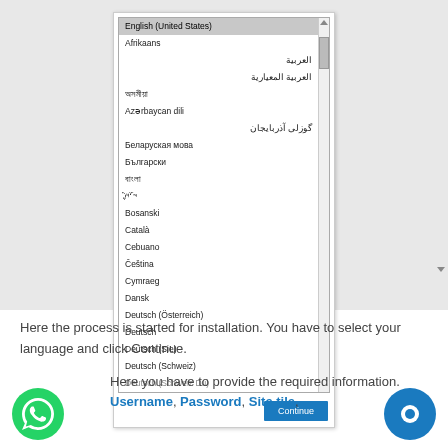[Figure (screenshot): Screenshot of a language selection dialog box showing a scrollable list of languages including English (United States) highlighted, Afrikaans, Arabic, Azerbaijani, Belarusian, Bulgarian, Bengali, Bosnian, Catalan, Cebuano, Čeština, Cymraeg, Dansk, Deutsch (Österreich), Deutsch, Deutsch (Sie), Deutsch (Schweiz), Deutsch (Schweiz Du) with a Continue button at the bottom right.]
Here the process is started for installation. You have to select your language and click Continue.
Here you have to provide the required information. Username, Password, Site tile,